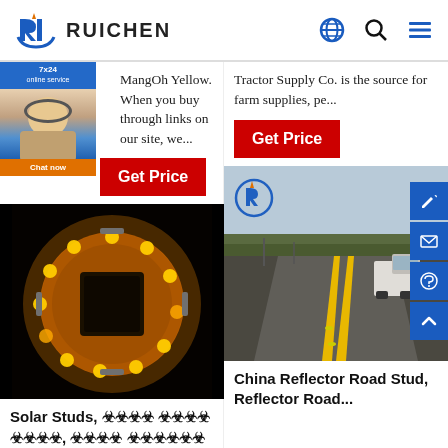RUICHEN
MangOh Yellow. When you buy through links on our site, we...
Tractor Supply Co. is the source for farm supplies, pe...
[Figure (screenshot): Get Price red button (left column)]
[Figure (screenshot): Get Price red button (right column)]
[Figure (photo): Solar road stud with yellow LEDs glowing in dark, circular shape]
[Figure (photo): Road scene with yellow lane markings and truck, Ruichen logo overlay]
Solar Studs, ????  ???? ????, ???? ?????? ??...
China Reflector Road Stud, Reflector Road...